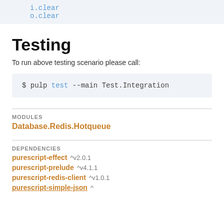i.clear
o.clear
Testing
To run above testing scenario please call:
$ pulp test --main Test.Integration
MODULES
Database.Redis.Hotqueue
DEPENDENCIES
purescript-effect  ^v2.0.1
purescript-prelude  ^v4.1.1
purescript-redis-client  ^v1.0.1
purescript-simple-json  ...